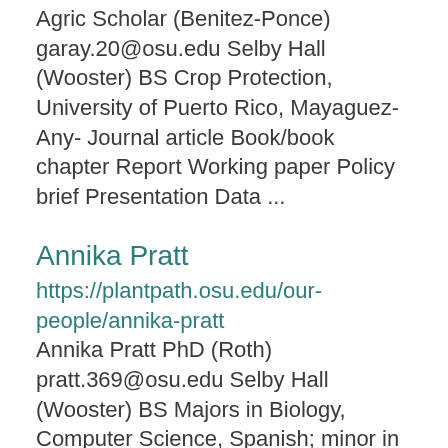Agric Scholar (Benitez-Ponce) garay.20@osu.edu Selby Hall (Wooster) BS Crop Protection, University of Puerto Rico, Mayaguez- Any- Journal article Book/book chapter Report Working paper Policy brief Presentation Data ...
Annika Pratt
https://plantpath.osu.edu/our-people/annika-pratt Annika Pratt PhD (Roth) pratt.369@osu.edu Selby Hall (Wooster) BS Majors in Biology, Computer Science, Spanish; minor in Chemistry, Concordia University- Any- Journal article Book/book